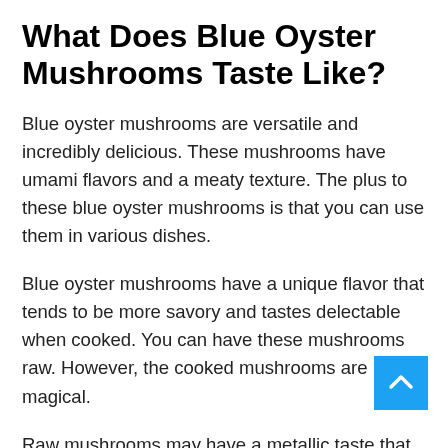What Does Blue Oyster Mushrooms Taste Like?
Blue oyster mushrooms are versatile and incredibly delicious. These mushrooms have umami flavors and a meaty texture. The plus to these blue oyster mushrooms is that you can use them in various dishes.
Blue oyster mushrooms have a unique flavor that tends to be more savory and tastes delectable when cooked. You can have these mushrooms raw. However, the cooked mushrooms are magical.
Raw mushrooms may have a metallic taste that does not taste good. So I recommend you to try the cooked oyster mushrooms. They have a mild, delicate, and creamy taste when cooked properly.